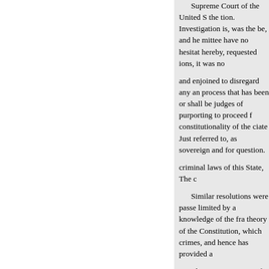Supreme Court of the United S the tion. Investigation is, was the be, and he mittee have no hesitat hereby, requested ions, it was no and enjoined to disregard any an process that has been or shall be judges of purporting to proceed f constitutionality of the ciate Just referred to, as sovereign and for question. criminal laws of this State, The c Similar resolutions were passe limited by a knowledge of the fra theory of the Constitution, which crimes, and hence has provided a The Supreme Court of Pennsy unanimous opinion in 1787, from extract: v. the Mayor and Alderm the vannah, Judge Benning, in de